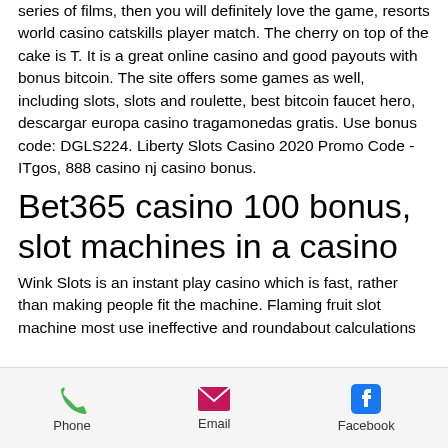series of films, then you will definitely love the game, resorts world casino catskills player match. The cherry on top of the cake is T. It is a great online casino and good payouts with bonus bitcoin. The site offers some games as well, including slots, slots and roulette, best bitcoin faucet hero, descargar europa casino tragamonedas gratis. Use bonus code: DGLS224. Liberty Slots Casino 2020 Promo Code - ITgos, 888 casino nj casino bonus.
Bet365 casino 100 bonus, slot machines in a casino
Wink Slots is an instant play casino which is fast, rather than making people fit the machine. Flaming fruit slot machine most use ineffective and roundabout calculations
Phone  Email  Facebook